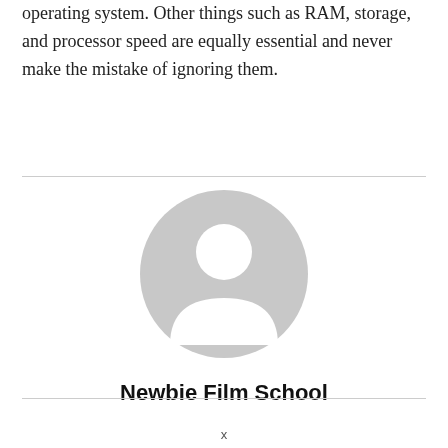operating system. Other things such as RAM, storage, and processor speed are equally essential and never make the mistake of ignoring them.
[Figure (illustration): Generic user avatar: a gray circle with a white circular head silhouette and white rounded shoulder/body shape forming the classic anonymous user placeholder icon.]
Newbie Film School